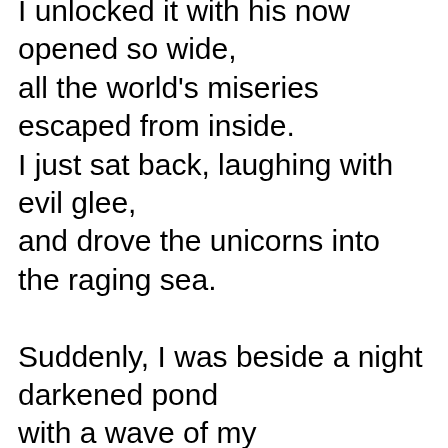I unlocked it with his now opened so wide, all the world's miseries escaped from inside. I just sat back, laughing with evil glee, and drove the unicorns into the raging sea.

Suddenly, I was beside a night darkened pond with a wave of my godmother's magical wand. I spied a frog with skin of